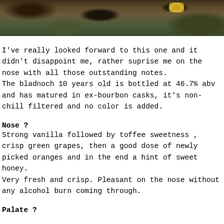[Figure (photo): Close-up photograph of a dark, textured tree bark or rock surface with foliage and yellow lichen visible]
I've really looked forward to this one and it didn't disappoint me, rather suprise me on the nose with all those outstanding notes.
The bladnoch 10 years old is bottled at 46.7% abv and has matured in ex-bourbon casks, it's non-chill filtered and no color is added.
Nose ?
Strong vanilla followed by toffee sweetness , crisp green grapes, then a good dose of newly picked oranges and in the end a hint of sweet honey.
Very fresh and crisp. Pleasant on the nose without any alcohol burn coming through.
Palate ?